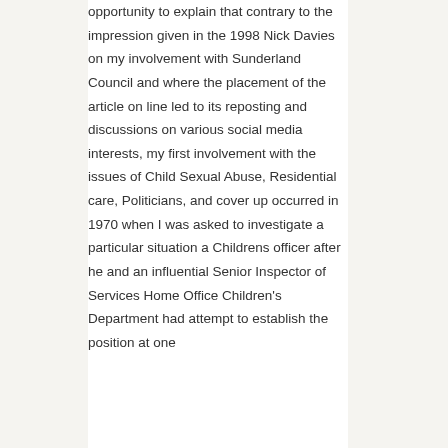opportunity to explain that contrary to the impression given in the 1998 Nick Davies on my involvement with Sunderland Council and where the placement of the article on line led to its reposting and discussions on various social media interests, my first involvement with the issues of Child Sexual Abuse, Residential care, Politicians, and cover up occurred in 1970 when I was asked to investigate a particular situation a Childrens officer after he and an influential Senior Inspector of Services Home Office Children's Department had attempt to establish the position at one